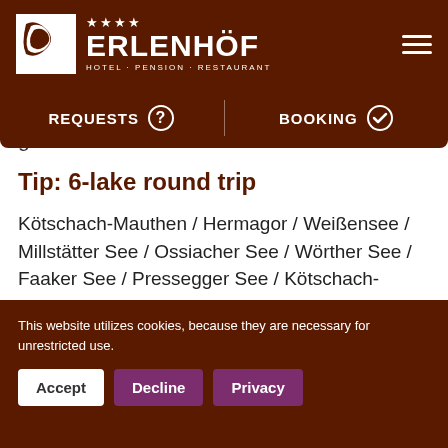Erlenhof Hotel-Pension Restaurant ★★★★
Sloven… our guests.
REQUESTS   BOOKING
Tip: 6-lake round trip
Kötschach-Mauthen / Hermagor / Weißensee / Millstätter See / Ossiacher See / Wörther See / Faaker See / Pressegger See / Kötschach-Mauthen. This tour is a day trip that you - together with your biker companions – will certainly enjoy.
This website utilizes cookies, because they are necessary for unrestricted use.